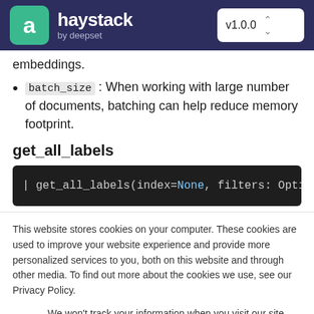haystack by deepset v1.0.0
embeddings.
batch_size : When working with large number of documents, batching can help reduce memory footprint.
get_all_labels
[Figure (screenshot): Dark code block showing: | get_all_labels(index=None, filters: Optional[di]
This website stores cookies on your computer. These cookies are used to improve your website experience and provide more personalized services to you, both on this website and through other media. To find out more about the cookies we use, see our Privacy Policy.
We won't track your information when you visit our site. But in order to comply with your preferences, we'll have to use just one tiny cookie so that you're not asked to make this choice again.
Accept   Decline